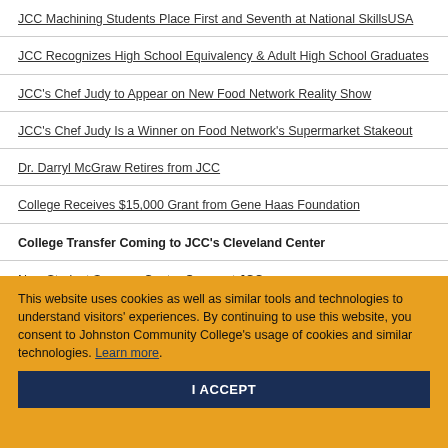JCC Machining Students Place First and Seventh at National SkillsUSA
JCC Recognizes High School Equivalency & Adult High School Graduates
JCC's Chef Judy to Appear on New Food Network Reality Show
JCC's Chef Judy Is a Winner on Food Network's Supermarket Stakeout
Dr. Darryl McGraw Retires from JCC
College Receives $15,000 Grant from Gene Haas Foundation
College Transfer Coming to JCC's Cleveland Center
New Student Success Center Opens at JCC
4,000 Eighth Graders to Attend Inaugural JOCO WORKS Career Expo at JCC
JCC Medical Office Instructor Receives Technology Grant
This website uses cookies as well as similar tools and technologies to understand visitors' experiences. By continuing to use this website, you consent to Johnston Community College's usage of cookies and similar technologies. Learn more.
I ACCEPT